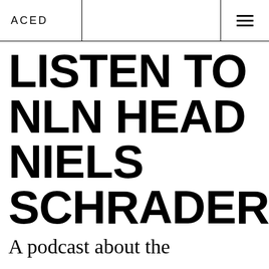ACED
LISTEN TO NLN HEAD NIELS SCHRADER
A podcast about the